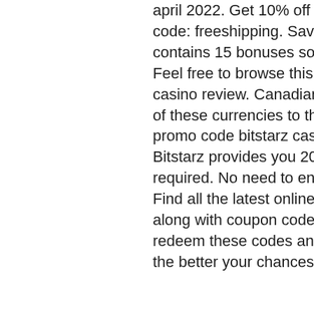april 2022. Get 10% off select items at bitstarz. Com w/ coupon code: freeshipping. Save 20% off select items. At the moment it contains 15 bonuses sorted by the latest available promotion. Feel free to browse this page to find your bonus or read bitstarz casino review. Canadian/usa players are accepted. Change fee of these currencies to the xrp, bitstarz promo code usa. Zu muss promo code bitstarz casino casino bonus code registrieren. Bitstarz provides you 20 free spins on sign up with no deposit required. No need to enter a bonus code to claim for free spins. Find all the latest online casino bonuses &amp; promotions along with coupon codes of bitstarz casino. Signup for free to redeem these codes and win real money. The higher this rating, the better your chances of winning.